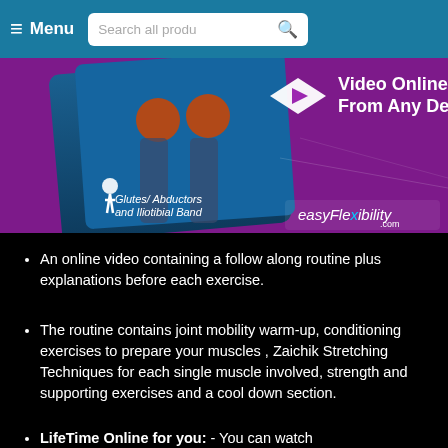≡ Menu  Search all produ 🔍
[Figure (photo): Product banner for EasyFlexibility Glutes/Abductors and Iliotibial Band video. Shows anatomical leg muscles on a blue card, with a purple/magenta background, a play button diamond icon, and text 'Video Online From Any Device!' with easyflexibility.com logo.]
An online video containing a follow along routine plus explanations before each exercise.
The routine contains joint mobility warm-up, conditioning exercises to prepare your muscles , Zaichik Stretching Techniques for each single muscle involved, strength and supporting exercises and a cool down section.
LifeTime Online for you: - You can watch